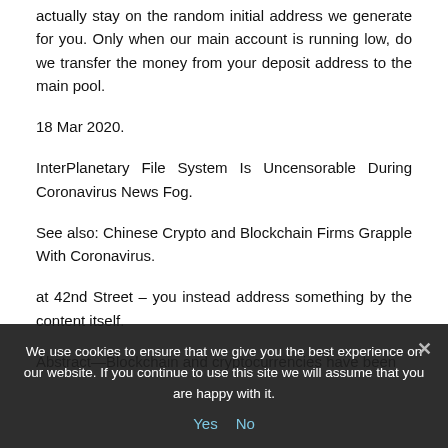actually stay on the random initial address we generate for you. Only when our main account is running low, do we transfer the money from your deposit address to the main pool.
18 Mar 2020.
InterPlanetary File System Is Uncensorable During Coronavirus News Fog.
See also: Chinese Crypto and Blockchain Firms Grapple With Coronavirus.
at 42nd Street – you instead address something by the content itself.
Abstract—Blockchain and cryptocurrencies have been
We use cookies to ensure that we give you the best experience on our website. If you continue to use this site we will assume that you are happy with it.
Yes  No